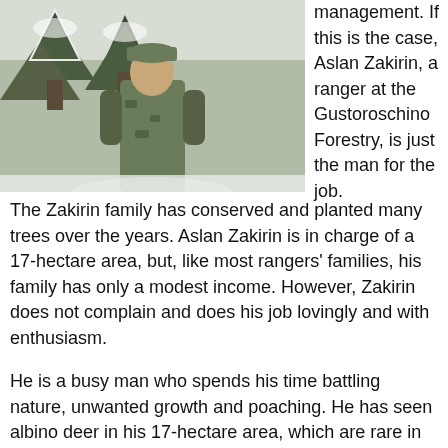[Figure (photo): A person in camouflage clothing standing in a snow-covered forest with trees in the background]
management. If this is the case, Aslan Zakirin, a ranger at the Gustoroschino Forestry, is just the man for the job.
The Zakirin family has conserved and planted many trees over the years. Aslan Zakirin is in charge of a 17-hectare area, but, like most rangers' families, his family has only a modest income. However, Zakirin does not complain and does his job lovingly and with enthusiasm.
He is a busy man who spends his time battling nature, unwanted growth and poaching. He has seen albino deer in his 17-hectare area, which are rare in the wild. The presence of such rare species is indicative of the pristine nature of the area and it is conservationists, such as Zakirin, who protect that environment. The Zakirins have put a lot of effort toward protecting the forest.
Close proximity to urban areas and visitors picking mushrooms and berries during summer puts a strain on the area's ecosystem. But Zakirin's forest is unique. It offers the feeling of being in the wild